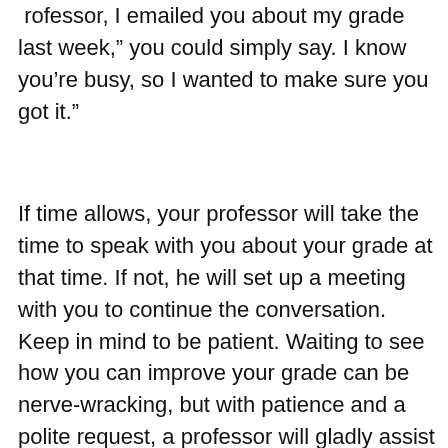Professor, I emailed you about my grade last week,” you could simply say. I know you’re busy, so I wanted to make sure you got it.”
If time allows, your professor will take the time to speak with you about your grade at that time. If not, he will set up a meeting with you to continue the conversation. Keep in mind to be patient. Waiting to see how you can improve your grade can be nerve-wracking, but with patience and a polite request, a professor will gladly assist you.